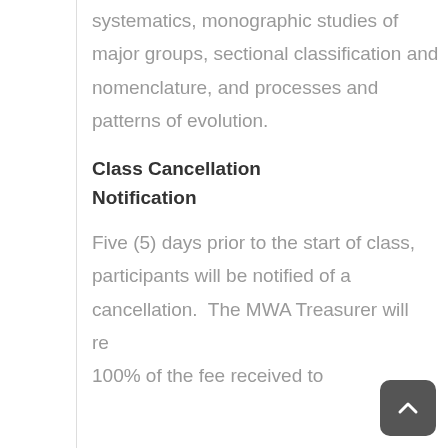systematics, monographic studies of major groups, sectional classification and nomenclature, and processes and patterns of evolution.
Class Cancellation Notification
Five (5) days prior to the start of class, participants will be notified of a cancellation.  The MWA Treasurer will refund 100% of the fee received to